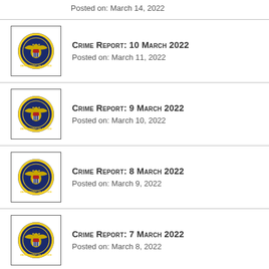Crime Report: 10 March 2022
Posted on: March 11, 2022
Crime Report: 9 March 2022
Posted on: March 10, 2022
Crime Report: 8 March 2022
Posted on: March 9, 2022
Crime Report: 7 March 2022
Posted on: March 8, 2022
Crime Report: 4, 5, 6 March 2022
Posted on: March 7, 2022